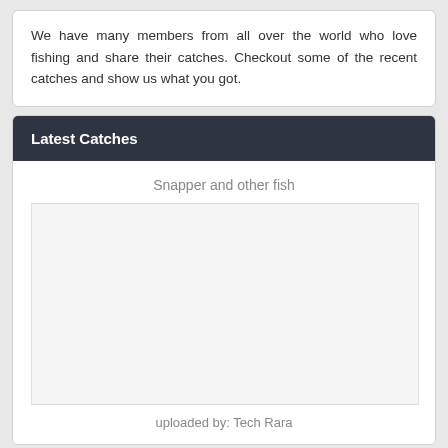We have many members from all over the world who love fishing and share their catches. Checkout some of the recent catches and show us what you got.
Latest Catches
Snapper and other fish
[Figure (photo): Empty white image placeholder area for a fish catch photo]
uploaded by: Tech Rara